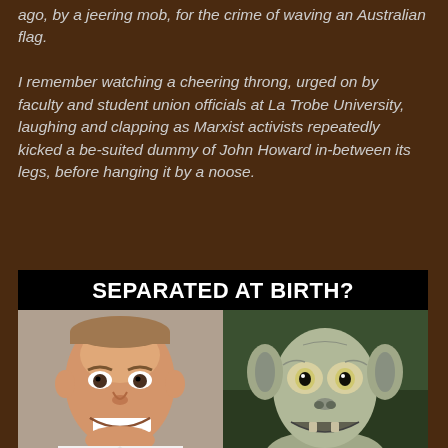ago, by a jeering mob, for the crime of waving an Australian flag.

I remember watching a cheering throng, urged on by faculty and student union officials at La Trobe University, laughing and clapping as Marxist activists repeatedly kicked a be-suited dummy of John Howard in-between its legs, before hanging it by a noose.
[Figure (photo): A meme image with black background header text 'SEPARATED AT BIRTH?' above two photos side by side: left shows a smiling politician (Tony Abbott), right shows Gollum from Lord of the Rings. Below is text 'PRECIOUSSS' in large white bold letters on black background.]